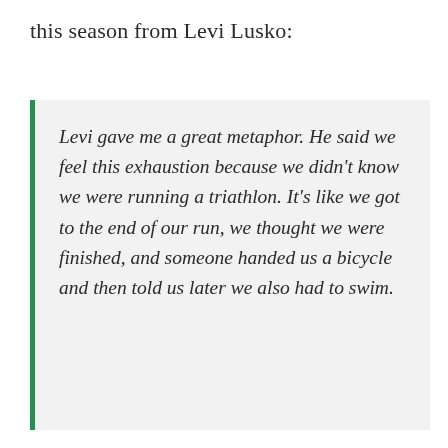this season from Levi Lusko:
Levi gave me a great metaphor. He said we feel this exhaustion because we didn't know we were running a triathlon. It's like we got to the end of our run, we thought we were finished, and someone handed us a bicycle and then told us later we also had to swim.